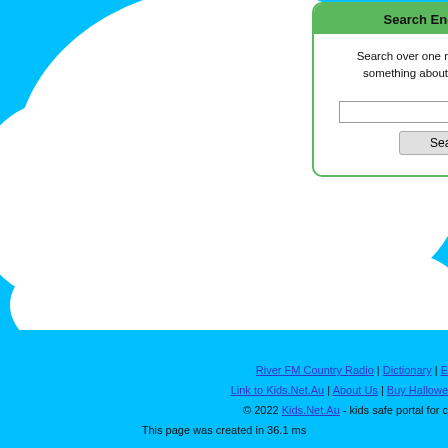[Figure (illustration): Cloud-shaped white background element with scalloped bottom edge on cyan/sky-blue background]
Search Encyclopedia
Search over one million articles, find something about almost anything!
River FM Country Radio | Dictionary | E...
Link to Kids.Net.Au | About Us | Buy Hallowe...
© 2022 Kids.Net.Au - kids safe portal for c...
This page was created in 36.1 ms